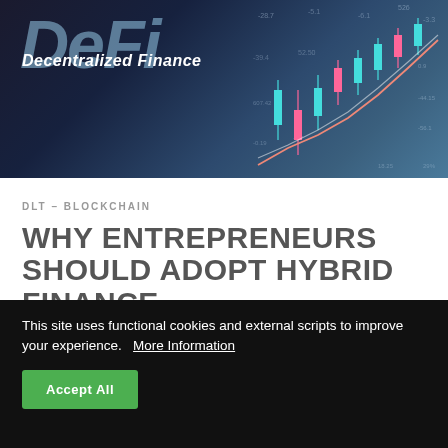[Figure (photo): A DeFi (Decentralized Finance) branded banner image showing large stylized 'DeFi' text with subtitle 'Decentralized Finance' overlaid on a dark blue/purple background with candlestick chart graphics and trading data numbers.]
DLT – BLOCKCHAIN
WHY ENTREPRENEURS SHOULD ADOPT HYBRID FINANCE
This site uses functional cookies and external scripts to improve your experience. More Information
Accept All